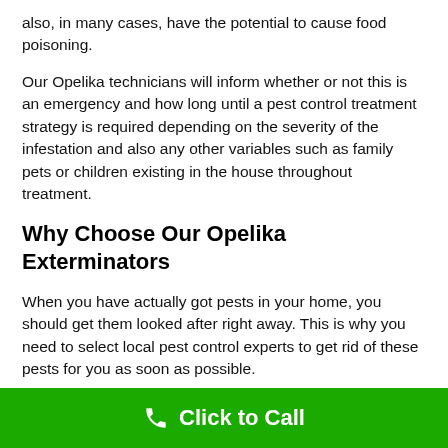also, in many cases, have the potential to cause food poisoning.
Our Opelika technicians will inform whether or not this is an emergency and how long until a pest control treatment strategy is required depending on the severity of the infestation and also any other variables such as family pets or children existing in the house throughout treatment.
Why Choose Our Opelika Exterminators
When you have actually got pests in your home, you should get them looked after right away. This is why you need to select local pest control experts to get rid of these pests for you as soon as possible.
Reasons our clients select our local exterminators to include:
Click to Call